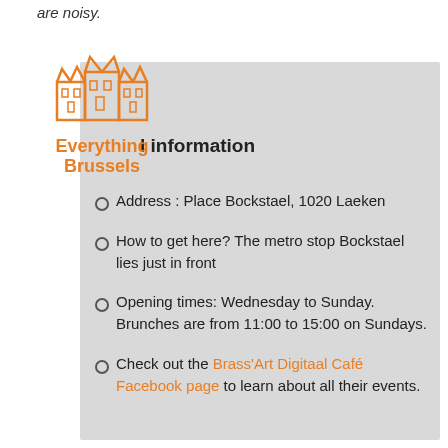are noisy.
[Figure (logo): Everything Brussels logo with orange building illustration and orange text]
l information
Address : Place Bockstael, 1020 Laeken
How to get here? The metro stop Bockstael lies just in front
Opening times: Wednesday to Sunday. Brunches are from 11:00 to 15:00 on Sundays.
Check out the Brass'Art Digitaal Café Facebook page to learn about all their events.